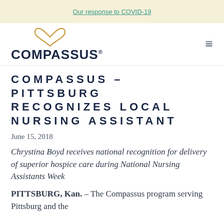Our response to COVID-19
[Figure (logo): Compassus logo with gold heart icon above bold dark navy COMPASSUS® wordmark]
COMPASSUS – PITTSBURG RECOGNIZES LOCAL NURSING ASSISTANT
June 15, 2018
Chrystina Boyd receives national recognition for delivery of superior hospice care during National Nursing Assistants Week
PITTSBURG, Kan. – The Compassus program serving Pittsburg and the